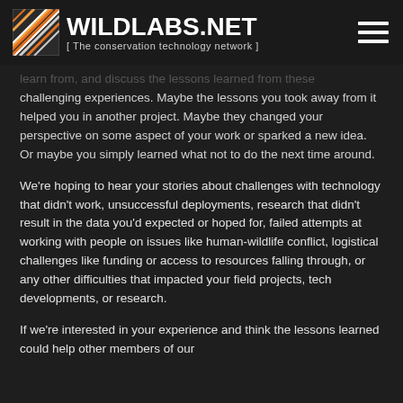WILDLABS.NET [ The conservation technology network ]
learn from, and discuss the lessons learned from these challenging experiences. Maybe the lessons you took away from it helped you in another project. Maybe they changed your perspective on some aspect of your work or sparked a new idea. Or maybe you simply learned what not to do the next time around.
We're hoping to hear your stories about challenges with technology that didn't work, unsuccessful deployments, research that didn't result in the data you'd expected or hoped for, failed attempts at working with people on issues like human-wildlife conflict, logistical challenges like funding or access to resources falling through, or any other difficulties that impacted your field projects, tech developments, or research.
If we're interested in your experience and think the lessons learned could help other members of our